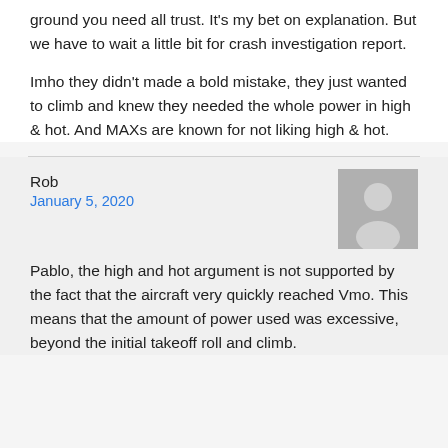ground you need all trust. It's my bet on explanation. But we have to wait a little bit for crash investigation report.
Imho they didn't made a bold mistake, they just wanted to climb and knew they needed the whole power in high & hot. And MAXs are known for not liking high & hot.
Rob
January 5, 2020
[Figure (illustration): Generic user avatar placeholder — grey square with silhouette of a person]
Pablo, the high and hot argument is not supported by the fact that the aircraft very quickly reached Vmo. This means that the amount of power used was excessive, beyond the initial takeoff roll and climb.